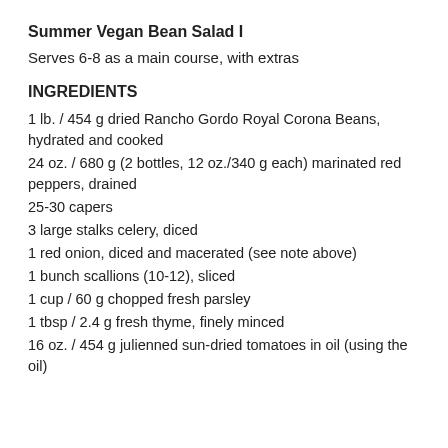Summer Vegan Bean Salad I
Serves 6-8 as a main course, with extras
INGREDIENTS
1 lb. / 454 g dried Rancho Gordo Royal Corona Beans, hydrated and cooked
24 oz. / 680 g (2 bottles, 12 oz./340 g each) marinated red peppers, drained
25-30 capers
3 large stalks celery, diced
1 red onion, diced and macerated (see note above)
1 bunch scallions (10-12), sliced
1 cup / 60 g chopped fresh parsley
1 tbsp / 2.4 g fresh thyme, finely minced
16 oz. / 454 g julienned sun-dried tomatoes in oil (using the oil)